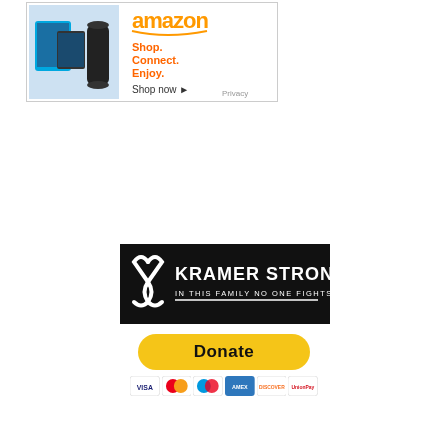[Figure (screenshot): Amazon advertisement banner showing Fire tablets and Echo device with text 'Shop. Connect. Enjoy. Shop now' and Amazon logo and Privacy link]
[Figure (logo): Kramer Strong banner - black background with white awareness ribbon and text 'KRAMER STRONG IN THIS FAMILY NO ONE FIGHTS ALONE']
[Figure (screenshot): PayPal Donate button (yellow/gold rounded rectangle) with payment card icons below (Visa, Mastercard, Maestro, American Express, Discover, Union Pay)]